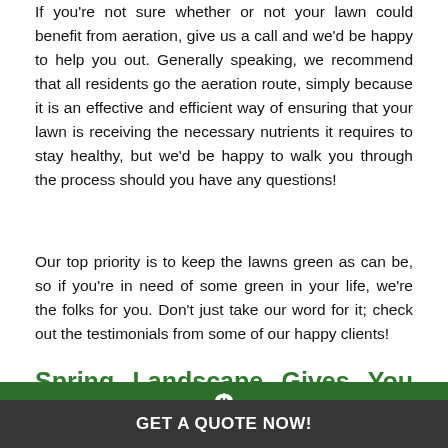If you're not sure whether or not your lawn could benefit from aeration, give us a call and we'd be happy to help you out. Generally speaking, we recommend that all residents go the aeration route, simply because it is an effective and efficient way of ensuring that your lawn is receiving the necessary nutrients it requires to stay healthy, but we'd be happy to walk you through the process should you have any questions!
Our top priority is to keep the lawns green as can be, so if you're in need of some green in your life, we're the folks for you. Don't just take our word for it; check out the testimonials from some of our happy clients!
Spring Landscape Gives You the Green Lawn You've Been
[Figure (other): Green banner with a white dollar sign symbol and a dark grey bar below with text 'GET A QUOTE NOW!']
Even if you've already thrown everything but the kitchen sink at your lawn, we can start things fresh from scratch